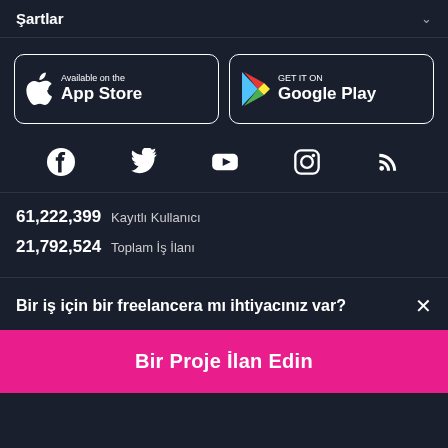Şartlar
[Figure (screenshot): App Store button - Available on the App Store]
[Figure (screenshot): Google Play button - GET IT ON Google Play]
[Figure (infographic): Social media icons row: Facebook, Twitter, YouTube, Instagram, RSS]
61,222,399  Kayıtlı Kullanıcı
21,792,524  Toplam İş İlanı
Bir iş için bir freelancera mı ihtiyacınız var?
Bir Proje İlan Edin